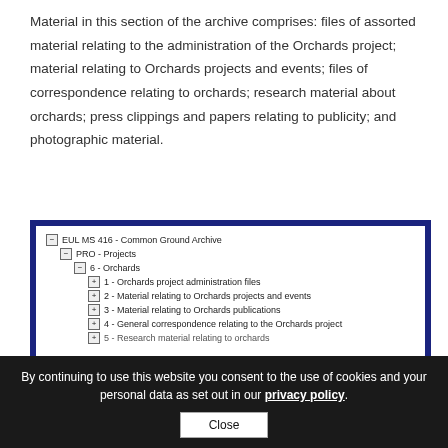Material in this section of the archive comprises: files of assorted material relating to the administration of the Orchards project; material relating to Orchards projects and events; files of correspondence relating to orchards; research material about orchards; press clippings and papers relating to publicity; and photographic material.
[Figure (screenshot): Screenshot of an archive tree navigation showing EUL MS 416 - Common Ground Archive > PRO - Projects > 6 - Orchards, with sub-items: 1 - Orchards project administration files, 2 - Material relating to Orchards projects and events, 3 - Material relating to Orchards publications, 4 - General correspondence relating to the Orchards project, 5 - Research material relating to orchards (partially visible)]
By continuing to use this website you consent to the use of cookies and your personal data as set out in our privacy policy.